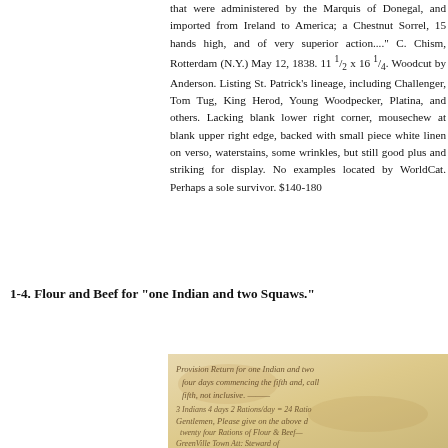that were administered by the Marquis of Donegal, and imported from Ireland to America; a Chestnut Sorrel, 15 hands high, and of very superior action...." C. Chism, Rotterdam (N.Y.) May 12, 1838. 11 ½ x 16 ¼. Woodcut by Anderson. Listing St. Patrick's lineage, including Challenger, Tom Tug, King Herod, Young Woodpecker, Platina, and others. Lacking blank lower right corner, mousechew at blank upper right edge, backed with small piece white linen on verso, waterstains, some wrinkles, but still good plus and striking for display. No examples located by WorldCat. Perhaps a sole survivor. $140-180
1-4. Flour and Beef for "one Indian and two Squaws."
[Figure (photo): Aged handwritten document on yellowed paper with cursive script, partially visible. Text appears to reference rations for one Indian and two squaws, mentioning flour and beef, four days commencing the fifth and, Greenville Town, and other partially legible words.]